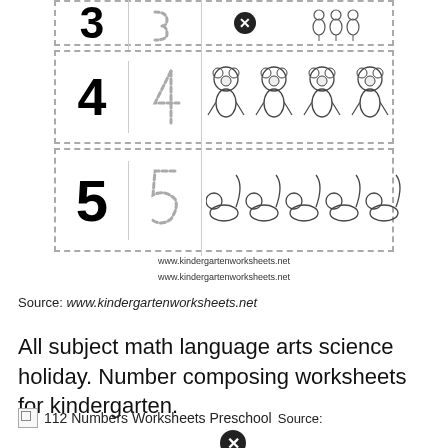[Figure (illustration): Kindergarten number worksheet rows showing numbers 3, 4, and 5 with tracing versions and animal counting illustrations (squirrels/foxes with X mark, monkeys, skunks). Website watermark: www.kindergartenworksheets.net]
www.kindergartenworksheets.net
Source: www.kindergartenworksheets.net
All subject math language arts science holiday. Number composing worksheets for kindergarten.
112 Numbers Worksheets Preschool  Source: